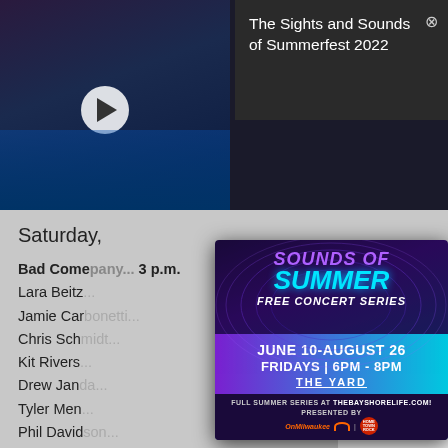[Figure (screenshot): Video thumbnail showing a sound mixing board operator at a concert event, with play button overlay. Title reads: The Sights and Sounds of Summerfest 2022]
The Sights and Sounds of Summerfest 2022
Saturday,
Bad Come[pany]... 3 p.m.
Lara Beitz[...]
Jamie Car[bonetti...]
Chris Sch[midt...]
Kit Rivers[...]
Drew Jan[da...]
Tyler Men[...]
Phil David[son...]
[Figure (infographic): Sounds of Summer Free Concert Series advertisement. JUNE 10-AUGUST 26, FRIDAYS 6PM-8PM, THE YARD. Full summer series at thebayshorelife.com! Presented by OnMilwaukee.]
[Figure (infographic): HOW TO BE THE EXPERT IN YOUR FIELD. Advertisement with NBA/sports logo.]